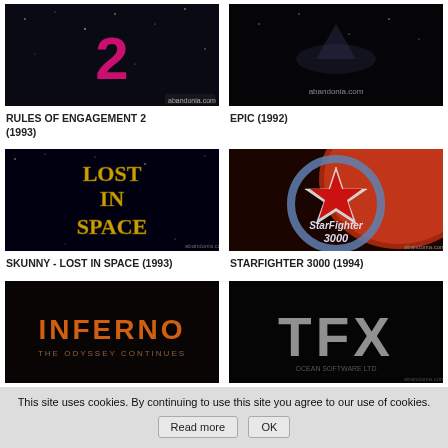[Figure (screenshot): Rules of Engagement 2 (1993) game title screen - dark space background with orange/red number 2]
RULES OF ENGAGEMENT 2 (1993)
[Figure (screenshot): Epic (1992) game title screen - dark space background]
EPIC (1992)
[Figure (screenshot): Skunny - Lost in Space (1993) game title screen - black background with gold/yellow text LOST IN SPACE]
SKUNNY - LOST IN SPACE (1993)
[Figure (screenshot): Starfighter 3000 (1994) game title screen - red planet background with star logo and StarFighter 3000 text]
STARFIGHTER 3000 (1994)
[Figure (screenshot): Inferno - The Odyssey Continues game title screen - dark background with orange stylized INFERNO text]
[Figure (screenshot): TFX game title screen - dark background with large silver T F X letters]
This site uses cookies. By continuing to use this site you agree to our use of cookies.
Read more
OK